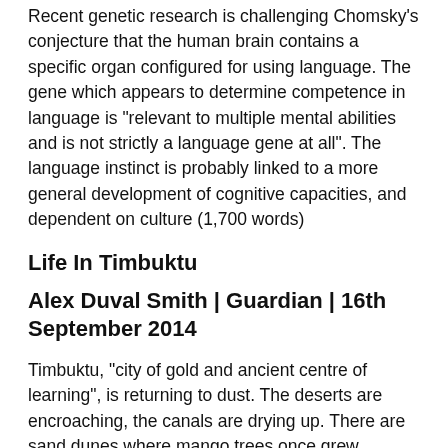Recent genetic research is challenging Chomsky's conjecture that the human brain contains a specific organ configured for using language. The gene which appears to determine competence in language is "relevant to multiple mental abilities and is not strictly a language gene at all". The language instinct is probably linked to a more general development of cognitive capacities, and dependent on culture (1,700 words)
Life In Timbuktu
Alex Duval Smith | Guardian | 16th September 2014
Timbuktu, "city of gold and ancient centre of learning", is returning to dust. The deserts are encroaching, the canals are drying up. There are sand dunes where mango trees once grew. Thousand fled when Islamic rebels occupied the city in 2012–13. Things are